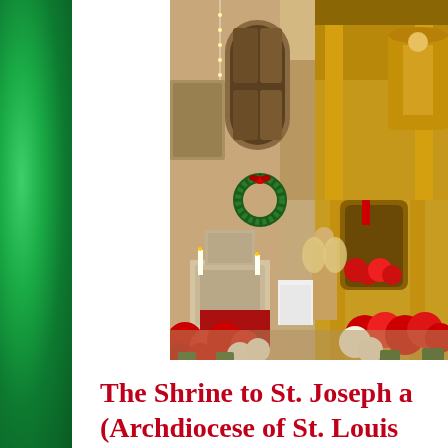[Figure (photo): Interior of a ornate Catholic church decorated for Christmas with red and white poinsettias, Christmas wreaths, golden altar, marble pulpit, religious statues and frescoes on the walls.]
The Shrine to St. Joseph a (Archdiocese of St. Louis